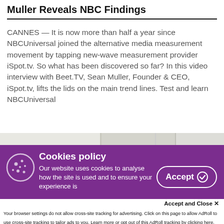Muller Reveals NBC Findings
CANNES — It is now more than half a year since NBCUniversal joined the alternative media measurement movement by tapping new-wave measurement provider iSpot.tv. So what has been discovered so far? In this video interview with Beet.TV, Sean Muller, Founder & CEO, iSpot.tv, lifts the lids on the main trend lines. Test and learn NBCUniversal
[Figure (photo): Video interview thumbnail showing a person from shoulders up in a bright indoor setting]
[Figure (screenshot): Cookies policy overlay banner with purple background, cookie icon, Accept button, and text about cookies usage]
Accept and Close ✕
Your browser settings do not allow cross-site tracking for advertising. Click on this page to allow AdRoll to use cross-site tracking to tailor ads to you. Learn more or opt out of this AdRoll tracking by clicking here. This message only appears once.